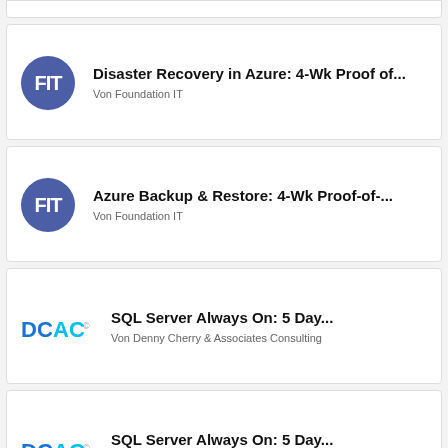[Figure (logo): Partial top card (cut off at top of page)]
Disaster Recovery in Azure: 4-Wk Proof of...
Von Foundation IT
Azure Backup & Restore: 4-Wk Proof-of-...
Von Foundation IT
SQL Server Always On: 5 Day...
Von Denny Cherry & Associates Consulting
SQL Server Always On: 5 Day...
Von Denny Cherry & Associates Consulting